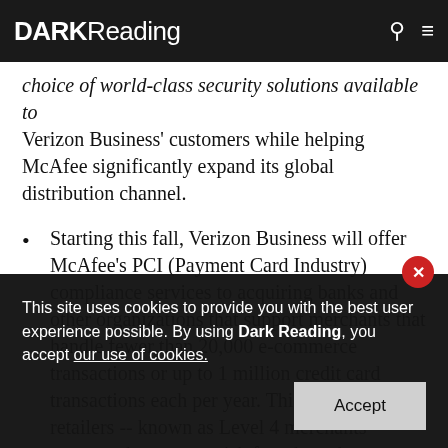DARK Reading
choice of world-class security solutions available to Verizon Business' customers while helping McAfee significantly expand its global distribution channel.
Starting this fall, Verizon Business will offer McAfee's PCI (Payment Card Industry) compliance services to acquiring banks and other organizations that support merchants that handle fewer than 20,000 e-commerce transactions or up to 1 million credit card transactions each per year. This group of retailers -- known as Level 4 merchants -- presents the greatest risk for a breach
This site uses cookies to provide you with the best user experience possible. By using Dark Reading, you accept our use of cookies.